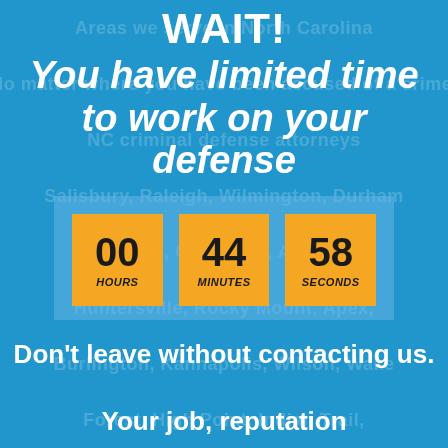WAIT!
You have limited time to work on your defense
[Figure (infographic): Countdown timer showing 00 HOURS, 44 MINUTES, 58 SECONDS in orange boxes on a blue background panel]
Don't leave without contacting us.
Your job, reputation